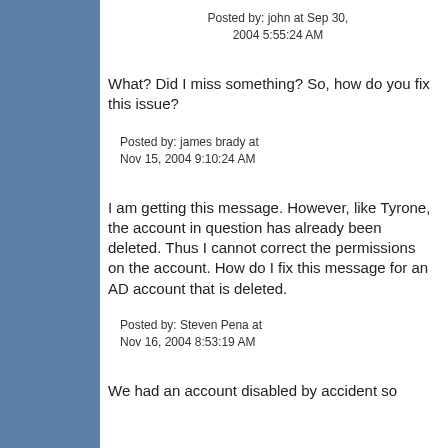Posted by: john at Sep 30, 2004 5:55:24 AM
What? Did I miss something? So, how do you fix this issue?
Posted by: james brady at Nov 15, 2004 9:10:24 AM
I am getting this message. However, like Tyrone, the account in question has already been deleted. Thus I cannot correct the permissions on the account. How do I fix this message for an AD account that is deleted.
Posted by: Steven Pena at Nov 16, 2004 8:53:19 AM
We had an account disabled by accident so